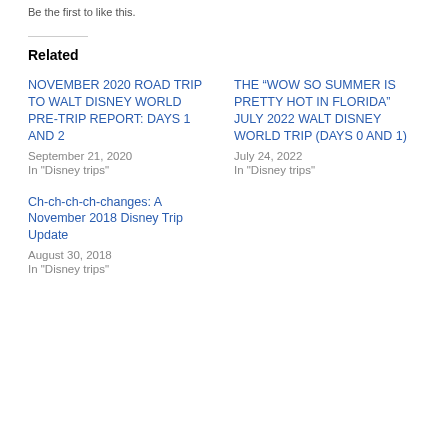Be the first to like this.
Related
NOVEMBER 2020 ROAD TRIP TO WALT DISNEY WORLD PRE-TRIP REPORT: DAYS 1 AND 2
September 21, 2020
In "Disney trips"
THE “WOW SO SUMMER IS PRETTY HOT IN FLORIDA” JULY 2022 WALT DISNEY WORLD TRIP (DAYS 0 AND 1)
July 24, 2022
In "Disney trips"
Ch-ch-ch-ch-changes: A November 2018 Disney Trip Update
August 30, 2018
In "Disney trips"